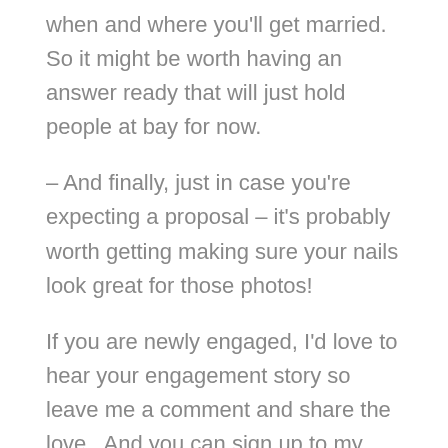when and where you'll get married.  So it might be worth having an answer ready that will just hold people at bay for now.
– And finally, just in case you're expecting a proposal – it's probably worth getting making sure your nails look great for those photos!
If you are newly engaged, I'd love to hear your engagement story so leave me a comment and share the love.  And you can sign up to my blog so you never miss out when there's a new blog available for